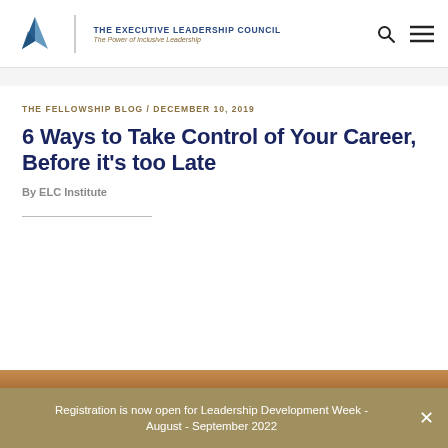THE EXECUTIVE LEADERSHIP COUNCIL — The Power of Inclusive Leadership
THE FELLOWSHIP BLOG / DECEMBER 10, 2019
6 Ways to Take Control of Your Career, Before it's too Late
By ELC Institute
[Figure (photo): Partial photo visible at bottom of page, appears to be an outdoor or architectural scene]
Registration is now open for Leadership Development Week - August - September 2022